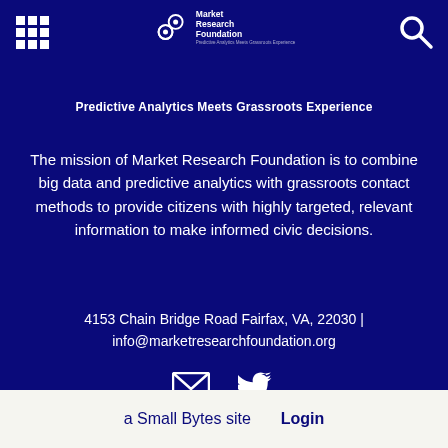[Figure (logo): Market Research Foundation logo with gear icons and text 'Market Research Foundation' and tagline 'Predictive Analytics Meets Grassroots Experience']
Predictive Analytics Meets Grassroots Experience
The mission of Market Research Foundation is to combine big data and predictive analytics with grassroots contact methods to provide citizens with highly targeted, relevant information to make informed civic decisions.
4153 Chain Bridge Road Fairfax, VA, 22030 | info@marketresearchfoundation.org
[Figure (illustration): Email icon (envelope) and Twitter bird icon in white]
a Small Bytes site   Login